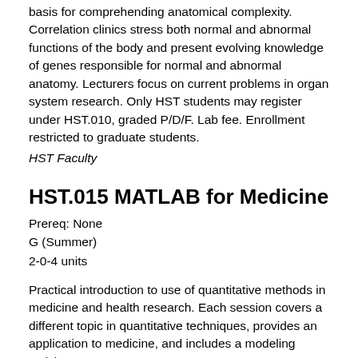basis for comprehending anatomical complexity. Correlation clinics stress both normal and abnormal functions of the body and present evolving knowledge of genes responsible for normal and abnormal anatomy. Lecturers focus on current problems in organ system research. Only HST students may register under HST.010, graded P/D/F. Lab fee. Enrollment restricted to graduate students.
HST Faculty
HST.015 MATLAB for Medicine
Prereq: None
G (Summer)
2-0-4 units
Practical introduction to use of quantitative methods in medicine and health research. Each session covers a different topic in quantitative techniques, provides an application to medicine, and includes a modeling activity